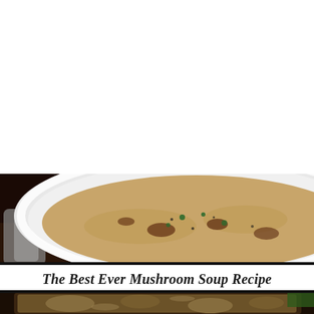[Figure (photo): A white bowl filled with creamy mushroom soup garnished with herbs and black pepper, with a spoon visible on the left side, top portion of bowl visible]
The Best Ever Mushroom Soup Recipe
[Figure (photo): A close-up view of mushroom soup in a dark pot or bowl showing chunky mushrooms in broth, partially cropped at bottom of page]